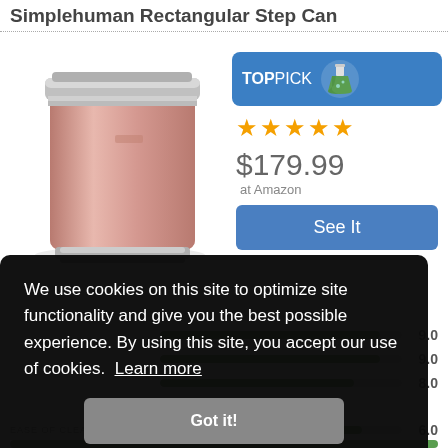Simplehuman Rectangular Step Can
[Figure (photo): Rose gold Simplehuman rectangular step trash can, metallic pink-gold finish with chrome accents, step pedal at bottom]
[Figure (infographic): Top Pick badge (blue rectangle with flask icon), 4.5 gold stars, price $179.99 at Amazon, See It button]
We use cookies on this site to optimize site functionality and give you the best possible experience. By using this site, you accept our use of cookies. Learn more
Got it!
9.0
9.0
8.0
EASE OF CLEANING
6.0